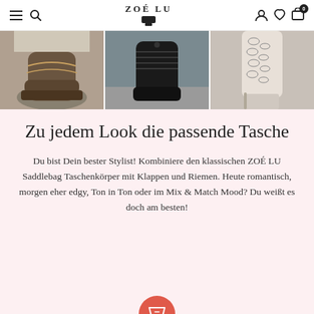ZOÉ LU — navigation bar with hamburger menu, search, logo, user icon, heart icon, cart (0)
[Figure (photo): Three photo panels showing close-up shots of footwear: left panel shows brown boots with chain detail on pavement, center panel shows black lace-up boots on a step, right panel shows snakeskin-print stiletto boots.]
Zu jedem Look die passende Tasche
Du bist Dein bester Stylist! Kombiniere den klassischen ZOÉ LU Saddlebag Taschenkörper mit Klappen und Riemen. Heute romantisch, morgen eher edgy, Ton in Ton oder im Mix & Match Mood? Du weißt es doch am besten!
[Figure (other): Red circular floating action button with a bag/envelope icon at the bottom of the page.]